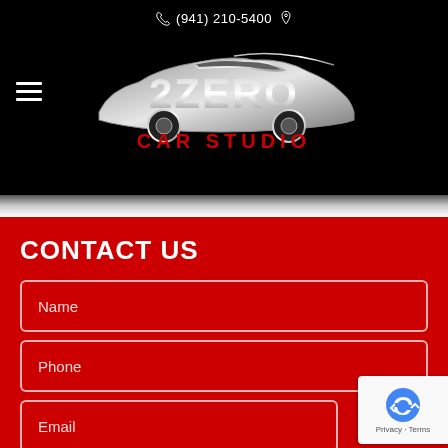(941) 210-5400
[Figure (logo): 2ZERO Car Studio logo with silver metallic car silhouette above text '2ZERO' and red text 'CAR STUDIO' below]
CONTACT US
Name
Phone
Email